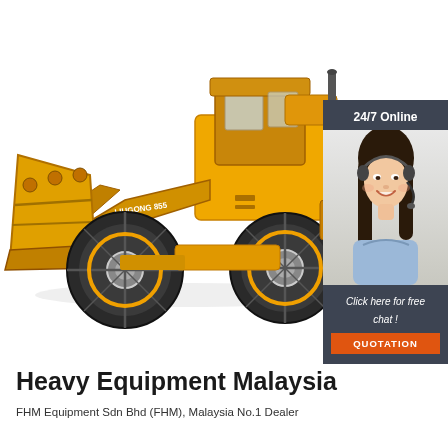[Figure (photo): Yellow wheel loader / heavy construction machinery (front end loader) photographed on white background, facing right]
[Figure (infographic): Dark grey sidebar advertisement panel showing '24/7 Online' header text, a customer service representative woman with headset smiling, italic text 'Click here for free chat !' and an orange QUOTATION button]
Heavy Equipment Malaysia
FHM Equipment Sdn Bhd (FHM), Malaysia No.1 Dealer